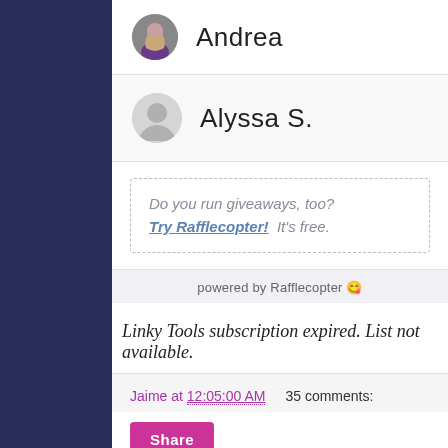Andrea
Alyssa S.
Do you run giveaways, too? Try Rafflecopter! It's free.
powered by Rafflecopter
Linky Tools subscription expired. List not available.
Jaime at 12:05:00 AM   35 comments:
Share